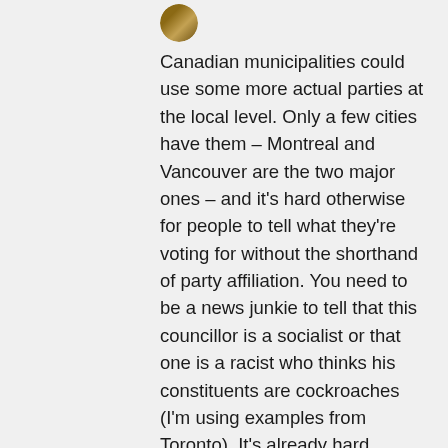[Figure (photo): Small circular avatar photo of a person, partially visible at top]
Canadian municipalities could use some more actual parties at the local level. Only a few cities have them – Montreal and Vancouver are the two major ones – and it's hard otherwise for people to tell what they're voting for without the shorthand of party affiliation. You need to be a news junkie to tell that this councillor is a socialist or that one is a racist who thinks his constituents are cockroaches (I'm using examples from Toronto). It's already hard enough for immigrants and other newcomers to get up to speed on the local political